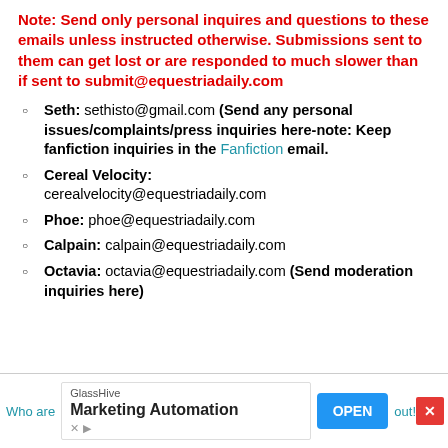Note: Send only personal inquires and questions to these emails unless instructed otherwise. Submissions sent to them can get lost or are responded to much slower than if sent to submit@equestriadaily.com
Seth: sethisto@gmail.com (Send any personal issues/complaints/press inquiries here-note: Keep fanfiction inquiries in the Fanfiction email.
Cereal Velocity: cerealvelocity@equestriadaily.com
Phoe: phoe@equestriadaily.com
Calpain: calpain@equestriadaily.com
Octavia: octavia@equestriadaily.com (Send moderation inquiries here)
[Figure (screenshot): Advertisement banner at the bottom: GlassHive Marketing Automation with OPEN button and close X button, partial text 'Who are...out!']